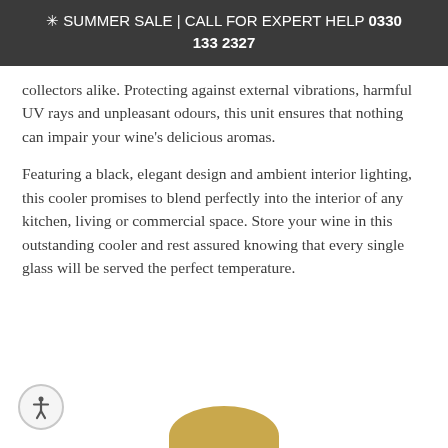✳ SUMMER SALE | CALL FOR EXPERT HELP 0330 133 2327
collectors alike. Protecting against external vibrations, harmful UV rays and unpleasant odours, this unit ensures that nothing can impair your wine's delicious aromas.
Featuring a black, elegant design and ambient interior lighting, this cooler promises to blend perfectly into the interior of any kitchen, living or commercial space. Store your wine in this outstanding cooler and rest assured knowing that every single glass will be served the perfect temperature.